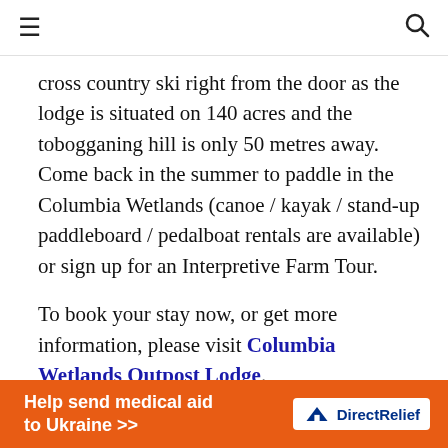≡ (hamburger menu) and search icon
cross country ski right from the door as the lodge is situated on 140 acres and the tobogganing hill is only 50 metres away. Come back in the summer to paddle in the Columbia Wetlands (canoe / kayak / stand-up paddleboard / pedalboat rentals are available) or sign up for an Interpretive Farm Tour.
To book your stay now, or get more information, please visit Columbia Wetlands Outpost Lodge.
[Figure (infographic): Orange advertisement banner: 'Help send medical aid to Ukraine >>' with Direct Relief logo on white pill background]